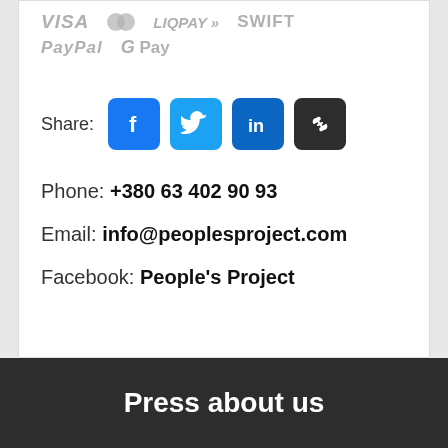[Figure (infographic): Payment method logos: VISA, MasterCard, LIQPAY, SWIFT, PayPal, G Pay — all shown in gray]
Share:
[Figure (infographic): Social share buttons: Facebook (blue), Twitter (blue), LinkedIn (blue), Link/chain (dark)]
Phone: +380 63 402 90 93
Email: info@peoplesproject.com
Facebook: People's Project
Press about us